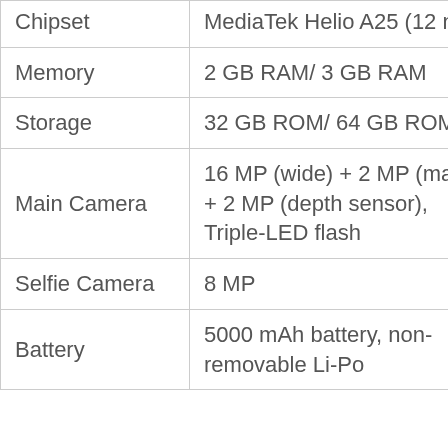| Feature | Details |
| --- | --- |
| Chipset | MediaTek Helio A25 (12 nm) |
| Memory | 2 GB RAM/ 3 GB RAM |
| Storage | 32 GB ROM/ 64 GB ROM |
| Main Camera | 16 MP (wide) + 2 MP (macro) + 2 MP (depth sensor), Triple-LED flash |
| Selfie Camera | 8 MP |
| Battery | 5000 mAh battery, non-removable Li-Po |